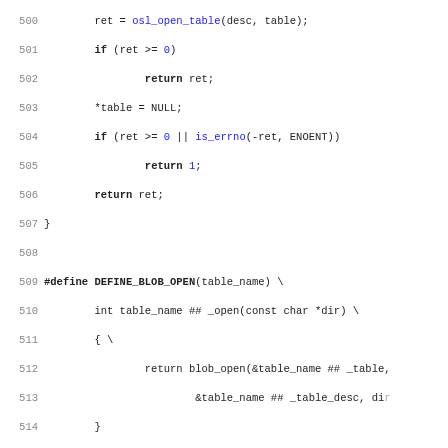[Figure (screenshot): Source code listing in C showing lines 500-531, including function definitions and macros for blob table operations such as DEFINE_BLOB_OPEN and DEFINE_BLOB_INIT.]